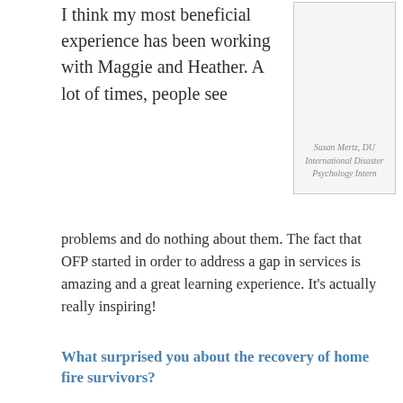I think my most beneficial experience has been working with Maggie and Heather. A lot of times, people see problems and do nothing about them. The fact that OFP started in order to address a gap in services is amazing and a great learning experience. It's actually really inspiring!
Susan Mertz, DU International Disaster Psychology Intern
What surprised you about the recovery of home fire survivors?
What surprised me most was how few resources there really are for people recovering from house fires. Initially, I thought the Red Cross did a lot more to help out, but